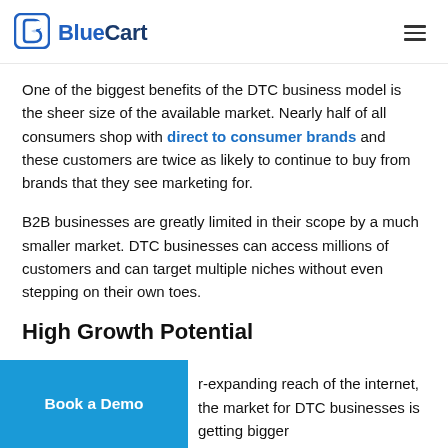BlueCart
One of the biggest benefits of the DTC business model is the sheer size of the available market. Nearly half of all consumers shop with direct to consumer brands and these customers are twice as likely to continue to buy from brands that they see marketing for.
B2B businesses are greatly limited in their scope by a much smaller market. DTC businesses can access millions of customers and can target multiple niches without even stepping on their own toes.
High Growth Potential
...ever-expanding reach of the internet, the market for DTC businesses is getting bigger